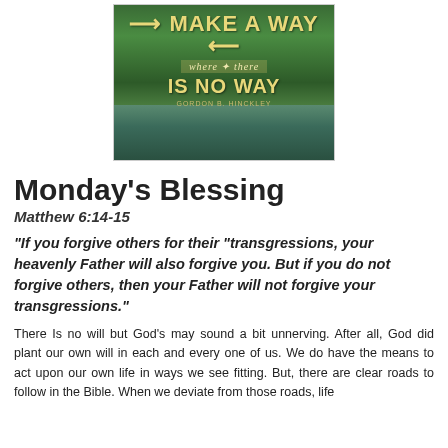[Figure (photo): Inspirational image of a forested lake with text overlay reading 'MAKE A WAY where there IS NO WAY - Gordon B. Hinckley']
Monday's Blessing
Matthew 6:14-15
"If you forgive others for their "transgressions, your heavenly Father will also forgive you.  But if you do not forgive others, then your Father will not forgive your transgressions."
There Is no will but God's may sound a bit unnerving.  After all, God did plant our own will in each and every one of us. We do have the means to act upon our own life in ways we see fitting.  But, there are clear roads to follow in the Bible.  When we deviate from those roads, life